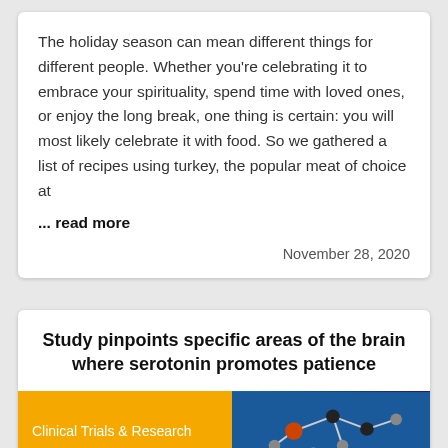The holiday season can mean different things for different people. Whether you're celebrating it to embrace your spirituality, spend time with loved ones, or enjoy the long break, one thing is certain: you will most likely celebrate it with food. So we gathered a list of recipes using turkey, the popular meat of choice at
... read more
November 28, 2020
Study pinpoints specific areas of the brain where serotonin promotes patience
[Figure (photo): Split image: left half shows yellow banner with text 'Clinical Trials & Research', right half shows a molecule model on a blue/dark background with orange and dark spheres connected by rods.]